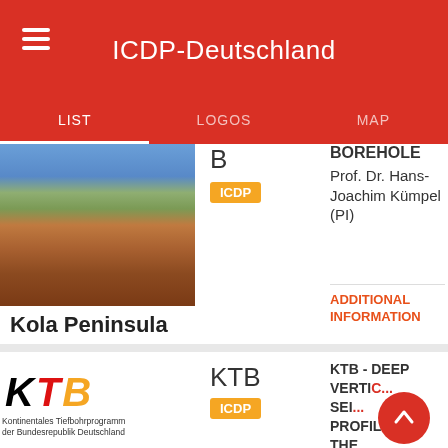ICDP-Deutschland
LIST | LOGOS | MAP
[Figure (photo): Landscape photo of Kola Peninsula showing lake, vegetation and tundra]
B
ICDP
BOREHOLE
Prof. Dr. Hans-Joachim Kümpel (PI)
Kola Peninsula
ADDITIONAL INFORMATION
[Figure (logo): KTB logo with letters K T B in black, red, and yellow/orange italic style. Subtitle: Kontinentales Tiefbohrprogramm der Bundesrepublik Deutschland]
KTB
ICDP
KTB - DEEP VERTIC... SEI... PROFIL... THE